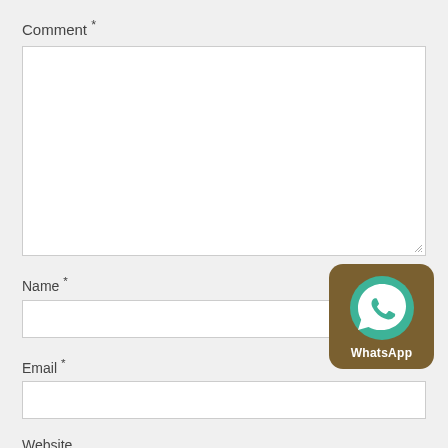Comment *
[Figure (screenshot): Empty comment textarea with resize handle in bottom right corner]
Name *
[Figure (screenshot): Empty single-line text input for Name field]
[Figure (logo): WhatsApp icon badge with brown background, teal WhatsApp logo, and WhatsApp label text]
Email *
[Figure (screenshot): Empty single-line text input for Email field]
Website